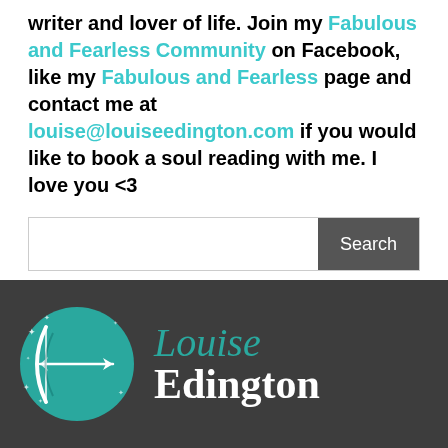writer and lover of life. Join my Fabulous and Fearless Community on Facebook, like my Fabulous and Fearless page and contact me at louise@louiseedington.com if you would like to book a soul reading with me. I love you <3
[Figure (screenshot): Search bar with a text input field and a dark grey Search button]
[Figure (logo): Louise Edington logo on dark grey footer: teal circle with archer/bow and arrow icon on the left, and the text 'Louise Edington' in teal and white serif font on the right]